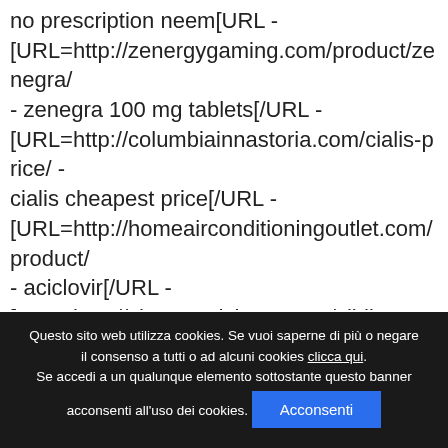no prescription neem[URL - [URL=http://zenergygaming.com/product/zenegra/ - zenegra 100 mg tablets[/URL - [URL=http://columbiainnastoria.com/cialis-price/ - cialis cheapest price[/URL - [URL=http://homeairconditioningoutlet.com/product/ - aciclovir[/URL - [URL=http://clearcandybags.com/sildigra-prof/ - pharmacy prices for sildigra prof[/URL - [URL=http://sole-solutions.com/drug/cialis/ - buy cialis online[/URL - cialis
Questo sito web utilizza cookies. Se vuoi saperne di più o negare il consenso a tutti o ad alcuni cookies clicca qui. Se accedi a un qualunque elemento sottostante questo banner acconsenti all'uso dei cookies. Acconsenti